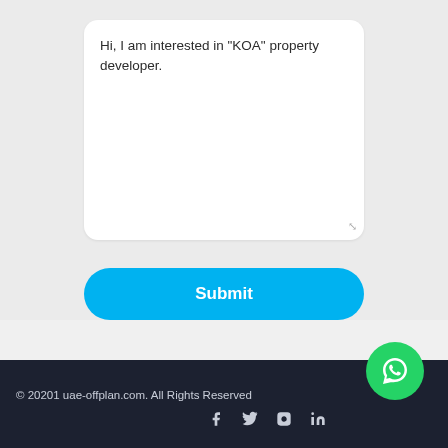Hi, I am interested in "KOA" property developer.
Submit
[Figure (other): WhatsApp floating action button - green circle with WhatsApp logo]
© 20201 uae-offplan.com. All Rights Reserved
[Figure (other): Social media icons: Facebook, Twitter, Instagram, LinkedIn]